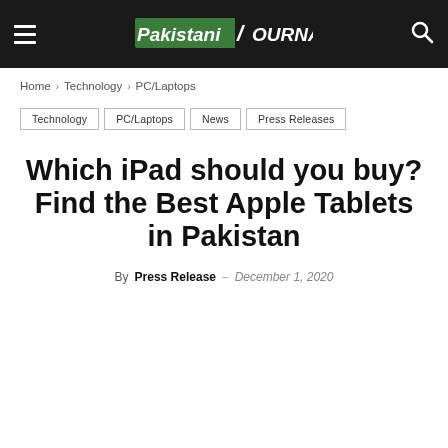Pakistani Journal
Home › Technology › PC/Laptops
Technology | PC/Laptops | News | Press Releases
Which iPad should you buy? Find the Best Apple Tablets in Pakistan
By Press Release – December 1, 2020